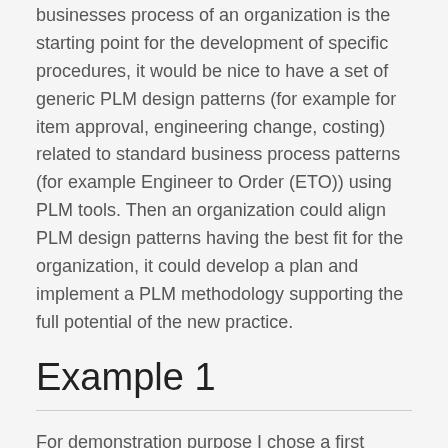businesses process of an organization is the starting point for the development of specific procedures, it would be nice to have a set of generic PLM design patterns (for example for item approval, engineering change, costing) related to standard business process patterns (for example Engineer to Order (ETO)) using PLM tools. Then an organization could align PLM design patterns having the best fit for the organization, it could develop a plan and implement a PLM methodology supporting the full potential of the new practice.
Example 1
For demonstration purpose I chose a first simple example for a pattern, which is anyhow somehow implemented in most of the PLM systems again and again. The pattern is classified as a general pattern.